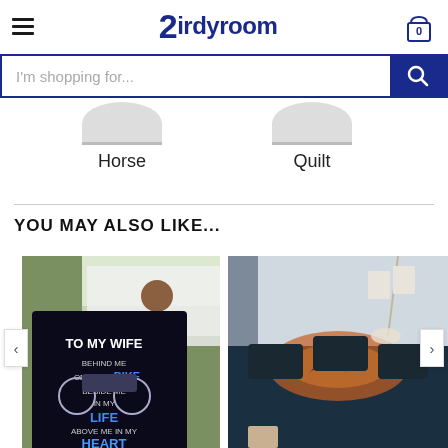Birdyroom
[Figure (screenshot): Search bar with placeholder text I'm shopping for... and blue search button with magnifying glass icon]
Horse
Quilt
YOU MAY ALSO LIKE...
[Figure (photo): Product photo: person holding a black fleece blanket with text TO MY WIFE BEHIND ME ON MY BIKE BESIDE ME IN MY LIFE ABOVE ME IN MY HEART Love Your Husband, outdoors in front of house]
[Figure (photo): Product photo: dark themed bedroom bedding set with swan/romantic design in teal and orange tones, styled on bed with pillows]